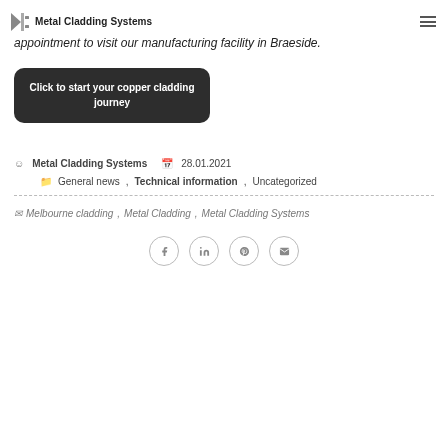Metal Cladding Systems
appointment to visit our manufacturing facility in Braeside.
Click to start your copper cladding journey
Metal Cladding Systems   28.01.2021
General news, Technical information, Uncategorized
Melbourne cladding, Metal Cladding, Metal Cladding Systems
[Figure (other): Social share icons: Facebook, LinkedIn, Pinterest, Email]